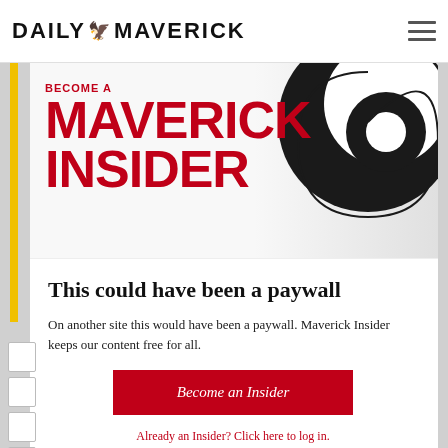DAILY MAVERICK
[Figure (logo): Daily Maverick Maverick Insider promotional banner with large red 'MAVERICK INSIDER' text and black spiral graphic]
This could have been a paywall
On another site this would have been a paywall. Maverick Insider keeps our content free for all.
Become an Insider
Already an Insider? Click here to log in.